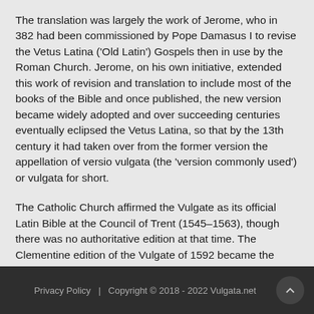The translation was largely the work of Jerome, who in 382 had been commissioned by Pope Damasus I to revise the Vetus Latina ('Old Latin') Gospels then in use by the Roman Church. Jerome, on his own initiative, extended this work of revision and translation to include most of the books of the Bible and once published, the new version became widely adopted and over succeeding centuries eventually eclipsed the Vetus Latina, so that by the 13th century it had taken over from the former version the appellation of versio vulgata (the 'version commonly used') or vulgata for short.
The Catholic Church affirmed the Vulgate as its official Latin Bible at the Council of Trent (1545–1563), though there was no authoritative edition at that time. The Clementine edition of the Vulgate of 1592 became the standard Bible text of the Roman Rite of the Catholic Church and remained so until 1979 when the Nova Vulgata was promulgated.
Privacy Policy  |  Copyright © 2018 - 2022 Vulgata.net